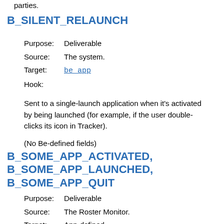parties.
B_SILENT_RELAUNCH
| Purpose: | Deliverable |
| Source: | The system. |
| Target: | be_app |
| Hook: |  |
Sent to a single-launch application when it's activated by being launched (for example, if the user double-clicks its icon in Tracker).
(No Be-defined fields)
B_SOME_APP_ACTIVATED, B_SOME_APP_LAUNCHED, B_SOME_APP_QUIT
| Purpose: | Deliverable |
| Source: | The Roster Monitor. |
| Target: | App-defined. |
| Hook: |  |